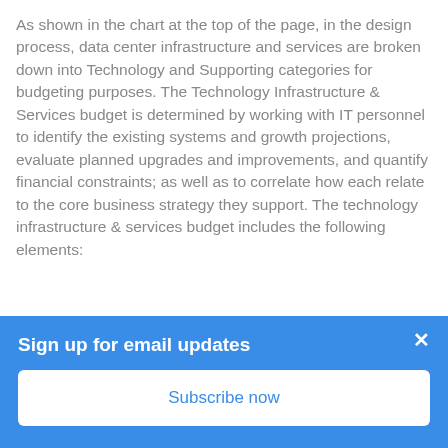As shown in the chart at the top of the page, in the design process, data center infrastructure and services are broken down into Technology and Supporting categories for budgeting purposes. The Technology Infrastructure & Services budget is determined by working with IT personnel to identify the existing systems and growth projections, evaluate planned upgrades and improvements, and quantify financial constraints; as well as to correlate how each relate to the core business strategy they support. The technology infrastructure & services budget includes the following elements:
Project Management
Sign up for email updates
Subscribe now